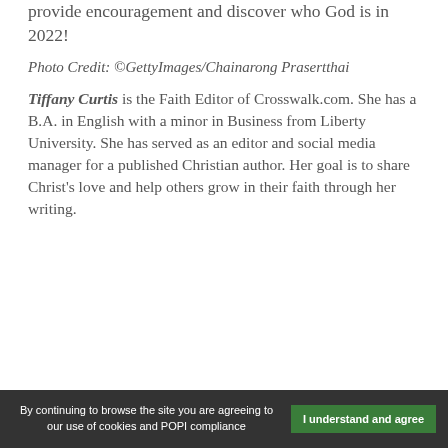provide encouragement and discover who God is in 2022!
Photo Credit: ©GettyImages/Chainarong Prasertthai
Tiffany Curtis is the Faith Editor of Crosswalk.com. She has a B.A. in English with a minor in Business from Liberty University. She has served as an editor and social media manager for a published Christian author. Her goal is to share Christ's love and help others grow in their faith through her writing.
By continuing to browse the site you are agreeing to our use of cookies and POPI compliance  I understand and agree